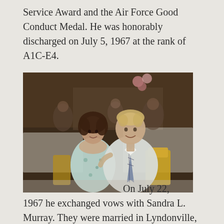Service Award and the Air Force Good Conduct Medal. He was honorably discharged on July 5, 1967 at the rank of A1C-E4.
[Figure (photo): A couple, a woman with dark curly hair wearing a light floral dress and a man with fair hair wearing a white suit and plaid tie, seated together at a banquet or reception venue with balloons and other guests visible in the background.]
On July 22, 1967 he exchanged vows with Sandra L. Murray. They were married in Lyndonville, Vt. in a simple service with close family and friends in attendance. They have been married for forty eight years.